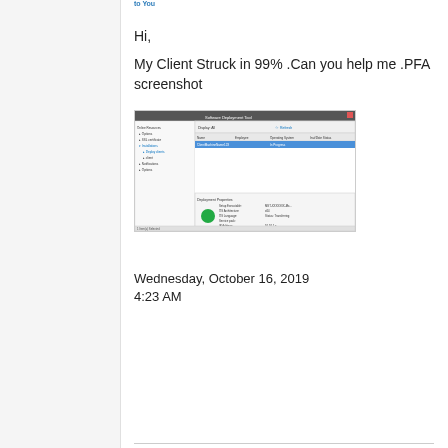Hi,
My Client Struck in 99% .Can you help me .PFA screenshot
[Figure (screenshot): Screenshot of a Windows application showing a file manager or software deployment tool with a tree view on the left and a details panel at the bottom with a green circle status indicator.]
Wednesday, October 16, 2019 4:23 AM